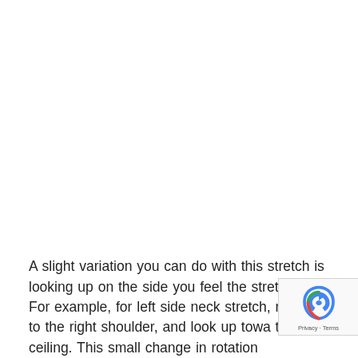A slight variation you can do with this stretch is looking up on the side you feel the stretch at. For example, for left side neck stretch, right ear to the right shoulder, and look up towards the left ceiling. This small change in rotation